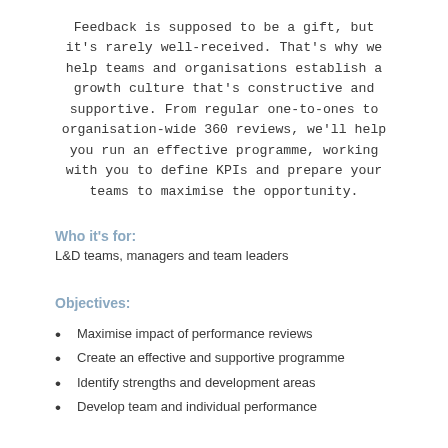Feedback is supposed to be a gift, but it's rarely well-received. That's why we help teams and organisations establish a growth culture that's constructive and supportive. From regular one-to-ones to organisation-wide 360 reviews, we'll help you run an effective programme, working with you to define KPIs and prepare your teams to maximise the opportunity.
Who it's for:
L&D teams, managers and team leaders
Objectives:
Maximise impact of performance reviews
Create an effective and supportive programme
Identify strengths and development areas
Develop team and individual performance